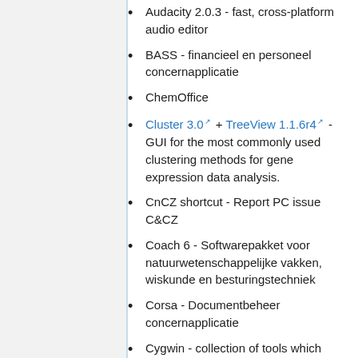Audacity 2.0.3 - fast, cross-platform audio editor
BASS - financieel en personeel concernapplicatie
ChemOffice
Cluster 3.0 + TreeView 1.1.6r4 - GUI for the most commonly used clustering methods for gene expression data analysis.
CnCZ shortcut - Report PC issue C&CZ
Coach 6 - Softwarepakket voor natuurwetenschappelijke vakken, wiskunde en besturingstechniek
Corsa - Documentbeheer concernapplicatie
Cygwin - collection of tools which provide a Linux look and feel environment for Windows